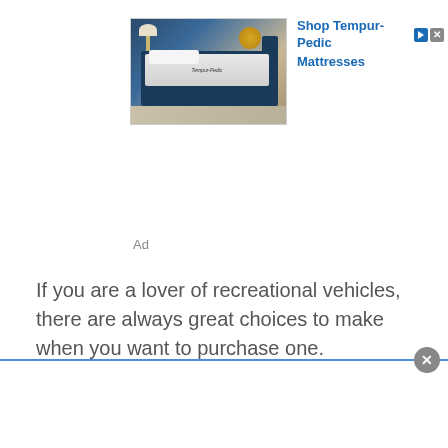[Figure (photo): Advertisement for Tempur-Pedic Mattresses showing a bed with a dark blue upholstered frame and white mattress in a styled bedroom setting]
Ad
If you are a lover of recreational vehicles, there are always great choices to make when you want to purchase one.
Whether you want to be with your lover for a week out in the country, or you want to go cross country with your family, you’ll find the right vehicle that